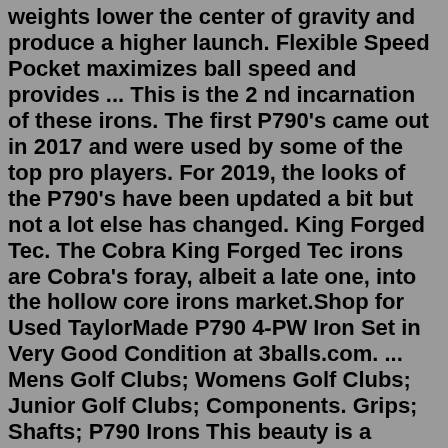weights lower the center of gravity and produce a higher launch. Flexible Speed Pocket maximizes ball speed and provides ... This is the 2 nd incarnation of these irons. The first P790's came out in 2017 and were used by some of the top pro players. For 2019, the looks of the P790's have been updated a bit but not a lot else has changed. King Forged Tec. The Cobra King Forged Tec irons are Cobra's foray, albeit a late one, into the hollow core irons market.Shop for Used TaylorMade P790 4-PW Iron Set in Very Good Condition at 3balls.com. ... Mens Golf Clubs; Womens Golf Clubs; Junior Golf Clubs; Components. Grips; Shafts; P790 Irons This beauty is a beast. P790 irons pack powerful performance into a clean, classic design to deliver breakthrough distance in a players iron. Through a combination of forged construction and our revolutionary new SpeedFoam Technology, golfers will experience feel, forgiveness, and workability unlike any iron. SpeedFoam Shop for Used TaylorMade P790 4-PW Iron Set in Very Good Condition at 3balls.com. ... Mens Golf Clubs; Womens